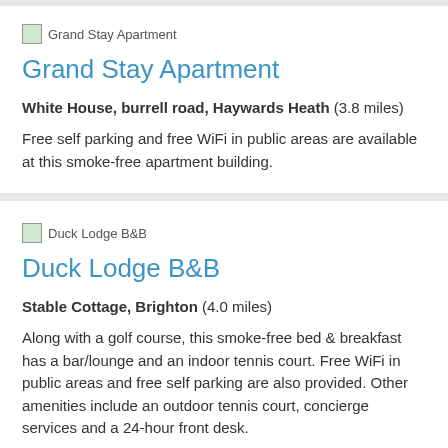[Figure (photo): Thumbnail image placeholder for Grand Stay Apartment]
Grand Stay Apartment
White House, burrell road, Haywards Heath (3.8 miles)
Free self parking and free WiFi in public areas are available at this smoke-free apartment building.
[Figure (photo): Thumbnail image placeholder for Duck Lodge B&B]
Duck Lodge B&B
Stable Cottage, Brighton (4.0 miles)
Along with a golf course, this smoke-free bed & breakfast has a bar/lounge and an indoor tennis court. Free WiFi in public areas and free self parking are also provided. Other amenities include an outdoor tennis court, concierge services and a 24-hour front desk.